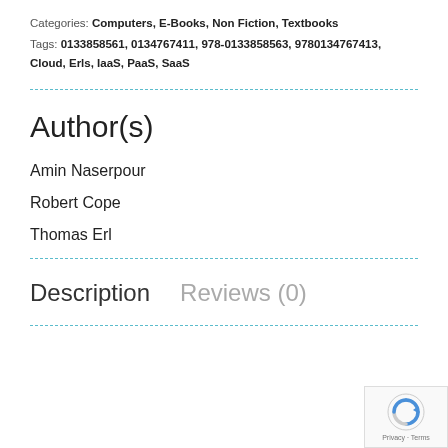Categories: Computers, E-Books, Non Fiction, Textbooks
Tags: 0133858561, 0134767411, 978-0133858563, 9780134767413, Cloud, Erls, IaaS, PaaS, SaaS
Author(s)
Amin Naserpour
Robert Cope
Thomas Erl
Description
Reviews (0)